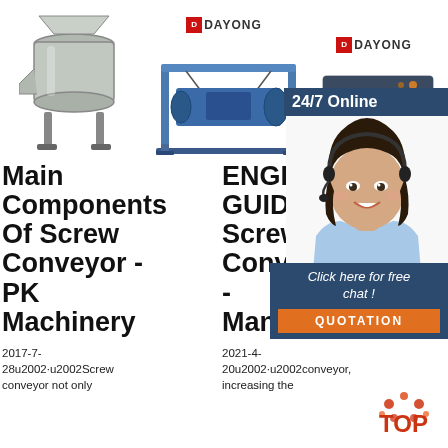[Figure (photo): Stainless steel centrifugal sieve/filter machine, cylindrical shape with funnel top]
[Figure (photo): Blue industrial screw conveyor machine on frame stand, Dayong brand logo above]
[Figure (photo): Gray/white industrial vibrating screen machine, Dayong brand logo above]
[Figure (photo): Woman with headset smiling, customer service photo with 24/7 Online banner and chat widget]
Main Components Of Screw Conveyor - PK Machinery
2017-7-28u2002·u2002Screw conveyor not only
ENGINEERING GUIDE Screw Conveyors - Manufacturer
2021-4-20u2002·u2002conveyor, increasing the
Spare Parts WAR...
subsidiary network ensures ex-stock availability of the most common spare parts. Our subsidiaries'